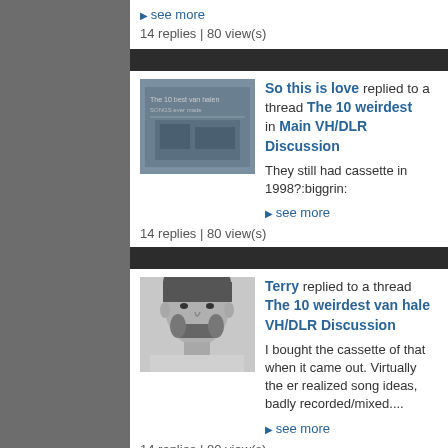see more
14 replies | 80 view(s)
So this is love replied to a thread The 10 weirdest in Main VH/DLR Discussion
They still had cassette in 1998?:biggrin:
see more
14 replies | 80 view(s)
Terry replied to a thread The 10 weirdest van hale VH/DLR Discussion
I bought the cassette of that when it came out. Virtually the er realized song ideas, badly recorded/mixed....
see more
14 replies | 80 view(s)
Terry replied to a thread The 10 weirdest van hale VH/DLR Discussion
Or Tora! Tora!
see more
14 replies | 80 view(s)